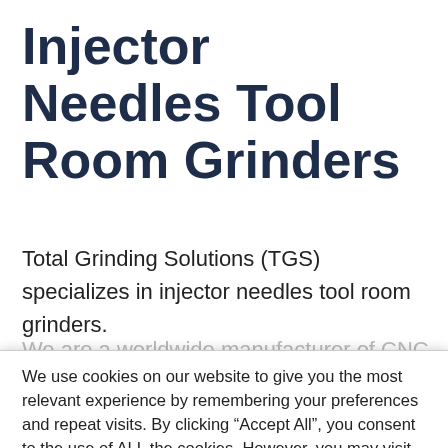Injector Needles Tool Room Grinders
Total Grinding Solutions (TGS) specializes in injector needles tool room grinders.
We are a worldwide manufacturer of CNC centerless
We use cookies on our website to give you the most relevant experience by remembering your preferences and repeat visits. By clicking “Accept All”, you consent to the use of ALL the cookies. However, you may visit “Cookie Settings” to provide a controlled consent.